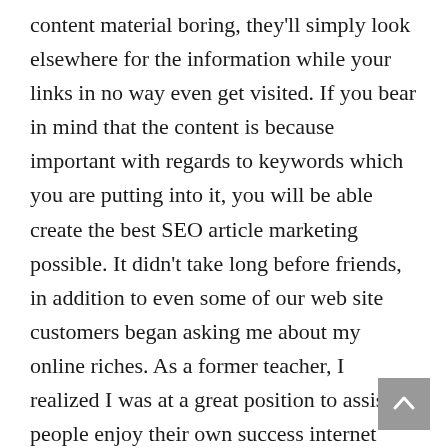content material boring, they'll simply look elsewhere for the information while your links in no way even get visited. If you bear in mind that the content is because important with regards to keywords which you are putting into it, you will be able create the best SEO article marketing possible. It didn't take long before friends, in addition to even some of our web site customers began asking me about my online riches. As a former teacher, I realized I was at a great position to assist people enjoy their own success internet marketing. I began teaching others how to generate income online with the use of SEO generate free and targeted traffic to their world wide web sites.